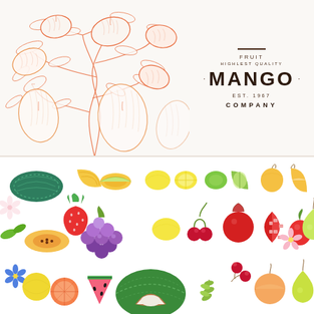[Figure (illustration): Top half: vintage engraving-style illustration of mango fruits hanging on branches with leaves, drawn in orange/coral line art style on cream background. Right side has brand logo text: FRUIT / HIGHLEST QUALITY / · MANGO · / EST. 1967 / COMPANY]
[Figure (illustration): Bottom half: colorful flat-style illustration of various fruits including watermelon, melon, lemon, lime, apple, grape, strawberry, pomegranate, cherry, pear, peach, orange, coconut and others on white background]